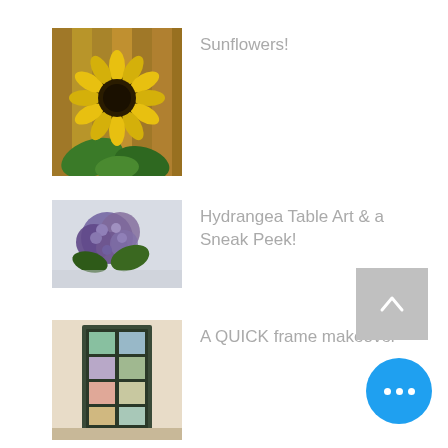[Figure (illustration): Thumbnail image of a sunflower painting on wood]
Sunflowers!
[Figure (illustration): Thumbnail image of a hydrangea table art painting]
Hydrangea Table Art & a Sneak Peek!
[Figure (illustration): Thumbnail image of a tall dark frame with photo grid]
A QUICK frame makeover
[Figure (other): Back to top button with upward chevron arrow]
[Figure (other): Floating action button with three white dots (more options)]